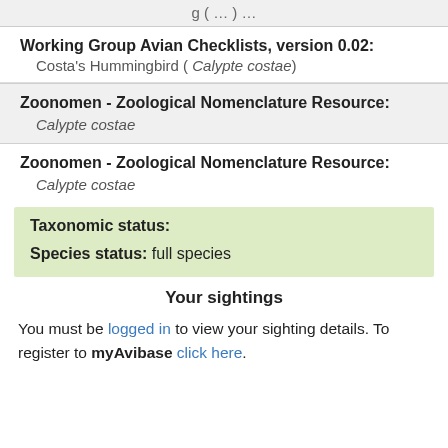g ( ... ) ...
Working Group Avian Checklists, version 0.02: Costa's Hummingbird ( Calypte costae)
Zoonomen - Zoological Nomenclature Resource: Calypte costae
Zoonomen - Zoological Nomenclature Resource: Calypte costae
Taxonomic status:
Species status: full species
Your sightings
You must be logged in to view your sighting details. To register to myAvibase click here.